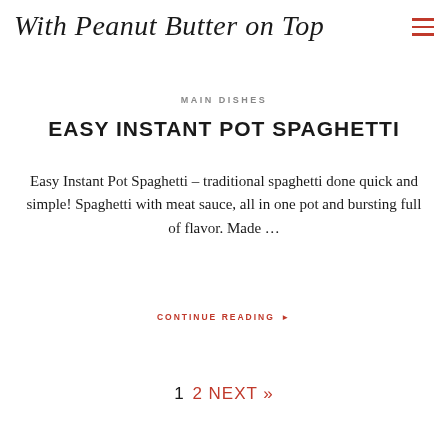With Peanut Butter on Top
MAIN DISHES
EASY INSTANT POT SPAGHETTI
Easy Instant Pot Spaghetti – traditional spaghetti done quick and simple! Spaghetti with meat sauce, all in one pot and bursting full of flavor. Made ...
CONTINUE READING ▸
1   2 NEXT »